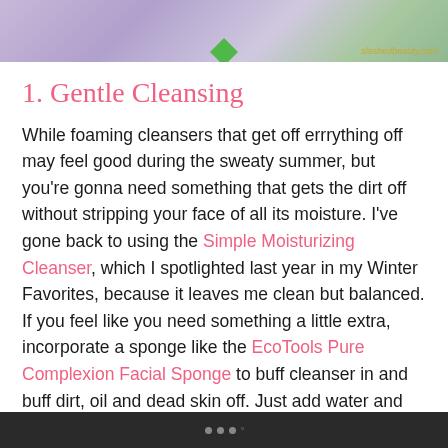[Figure (photo): Top strip showing a beauty/skincare product photo with purple and green colors, with watermark 'slashedbeauty.com' in bottom right]
1. Gentle Cleansing
While foaming cleansers that get off errrything off may feel good during the sweaty summer, but you're gonna need something that gets the dirt off without stripping your face of all its moisture. I've gone back to using the Simple Moisturizing Cleanser, which I spotlighted last year in my Winter Favorites, because it leaves me clean but balanced. If you feel like you need something a little extra, incorporate a sponge like the EcoTools Pure Complexion Facial Sponge to buff cleanser in and buff dirt, oil and dead skin off. Just add water and your favorite cleanser to get the most out of the sponge.